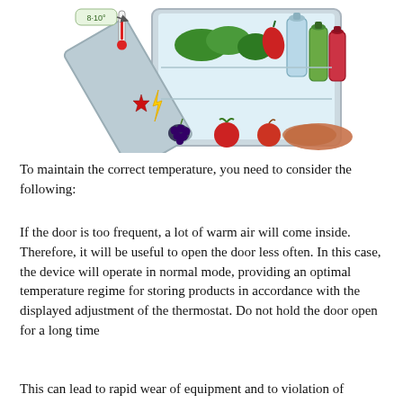[Figure (illustration): Illustration of an open refrigerator showing vegetables and fruits inside, bottles in the door, a thermometer reading 8-10 degrees, and various produce items (grapes, tomato, apple, potato) on the outside in front of the fridge.]
To maintain the correct temperature, you need to consider the following:
If the door is too frequent, a lot of warm air will come inside. Therefore, it will be useful to open the door less often. In this case, the device will operate in normal mode, providing an optimal temperature regime for storing products in accordance with the displayed adjustment of the thermostat. Do not hold the door open for a long time
This can lead to rapid wear of equipment and to violation of